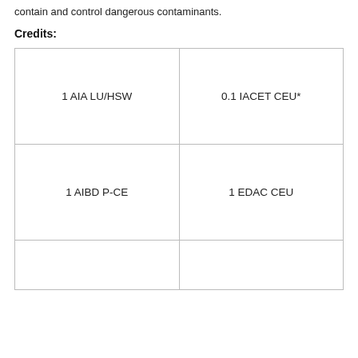contain and control dangerous contaminants.
Credits:
| 1 AIA LU/HSW | 0.1 IACET CEU* |
| 1 AIBD P-CE | 1 EDAC CEU |
|  |  |